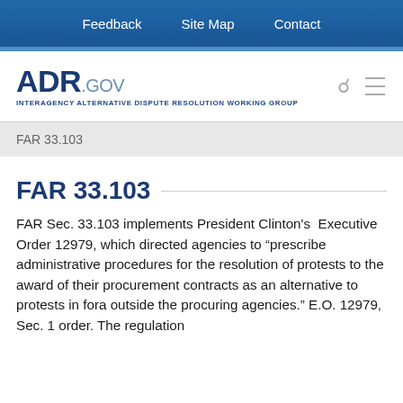Feedback   Site Map   Contact
[Figure (logo): ADR.GOV logo with text INTERAGENCY ALTERNATIVE DISPUTE RESOLUTION WORKING GROUP]
FAR 33.103
FAR 33.103
FAR Sec. 33.103 implements President Clinton's Executive Order 12979, which directed agencies to “prescribe administrative procedures for the resolution of protests to the award of their procurement contracts as an alternative to protests in fora outside the procuring agencies.” E.O. 12979, Sec. 1 order. The regulation